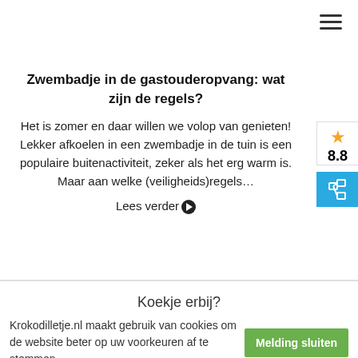☰ (hamburger menu)
Zwembadje in de gastouderopvang: wat zijn de regels?
Het is zomer en daar willen we volop van genieten! Lekker afkoelen in een zwembadje in de tuin is een populaire buitenactiviteit, zeker als het erg warm is. Maar aan welke (veiligheids)regels... Lees verder
Koekje erbij?
Krokodilletje.nl maakt gebruik van cookies om de website beter op uw voorkeuren af te stemmen.
Melding sluiten
Klik hier voor meer informatie over onze cookies